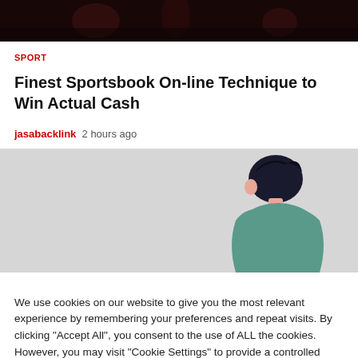[Figure (photo): Dark background image with blurred figures, likely a sports or nightclub scene]
SPORT
Finest Sportsbook On-line Technique to Win Actual Cash
jasabacklink  2 hours ago
[Figure (illustration): Light gray background with a flat design illustration of a person with dark hair wearing a teal/blue outfit, shown from behind/side]
We use cookies on our website to give you the most relevant experience by remembering your preferences and repeat visits. By clicking “Accept All”, you consent to the use of ALL the cookies. However, you may visit "Cookie Settings" to provide a controlled consent.